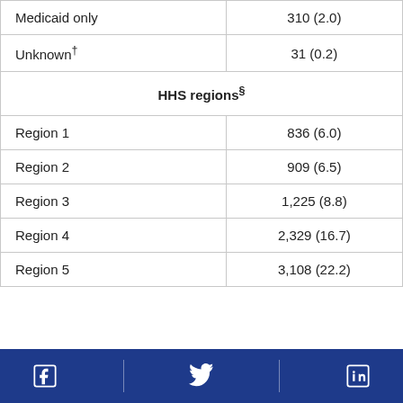|  |  |
| --- | --- |
| Medicaid only | 310 (2.0) |
| Unknown† | 31 (0.2) |
| HHS regions§ |  |
| Region 1 | 836 (6.0) |
| Region 2 | 909 (6.5) |
| Region 3 | 1,225 (8.8) |
| Region 4 | 2,329 (16.7) |
| Region 5 | 3,108 (22.2) |
Social media icons: Facebook, Twitter, LinkedIn